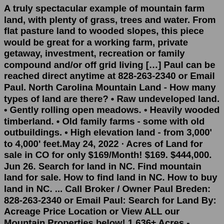A truly spectacular example of mountain farm land, with plenty of grass, trees and water. From flat pasture land to wooded slopes, this piece would be great for a working farm, private getaway, investment, recreation or family compound and/or off grid living […] Paul can be reached direct anytime at 828-263-2340 or Email Paul. North Carolina Mountain Land - How many types of land are there? • Raw undeveloped land. • Gently rolling open meadows. • Heavily wooded timberland. • Old family farms - some with old outbuildings. • High elevation land - from 3,000' to 4,000' feet.May 24, 2022 · Acres of Land for sale in CO for only $169/Month! $169. $444,000. Jun 26. Search for land in NC. Find mountain land for sale. How to find land in NC. How to buy land in NC. ... Call Broker / Owner Paul Breden: 828-263-2340 or Email Paul: Search for Land By: Acreage Price Location or View ALL our Mountain Properties below! 1.636± Acres - Wilkes County, NC - SOLD! View Property. Call Paul: 828-